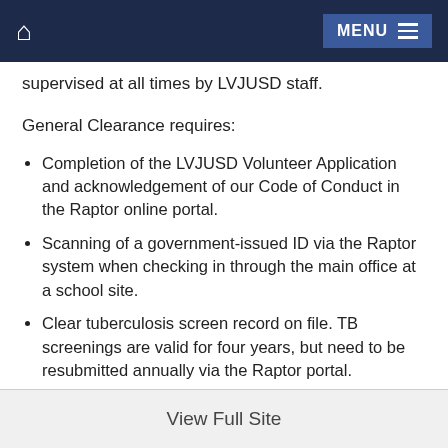🏠  MENU
supervised at all times by LVJUSD staff.
General Clearance requires:
Completion of the LVJUSD Volunteer Application and acknowledgement of our Code of Conduct in the Raptor online portal.
Scanning of a government-issued ID via the Raptor system when checking in through the main office at a school site.
Clear tuberculosis screen record on file. TB screenings are valid for four years, but need to be resubmitted annually via the Raptor portal.
View Full Site